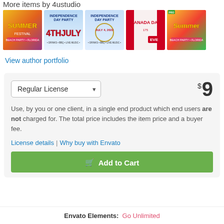More items by 4ustudio
[Figure (illustration): Row of 5 promotional flyer thumbnails: summer party, Independence Day 4th July party (x2), Canada Day Eve, and another summer party]
View author portfolio
Regular License  $9
Use, by you or one client, in a single end product which end users are not charged for. The total price includes the item price and a buyer fee.
License details | Why buy with Envato
Add to Cart
Envato Elements: Go Unlimited